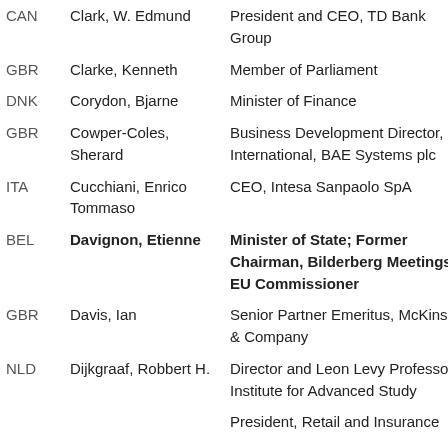| Country | Name | Title |
| --- | --- | --- |
| CAN | Clark, W. Edmund | President and CEO, TD Bank Group |
| GBR | Clarke, Kenneth | Member of Parliament |
| DNK | Corydon, Bjarne | Minister of Finance |
| GBR | Cowper-Coles, Sherard | Business Development Director, International, BAE Systems plc |
| ITA | Cucchiani, Enrico Tommaso | CEO, Intesa Sanpaolo SpA |
| BEL | Davignon, Etienne | Minister of State; Former Chairman, Bilderberg Meetings, EU Commissioner |
| GBR | Davis, Ian | Senior Partner Emeritus, McKinsey & Company |
| NLD | Dijkgraaf, Robbert H. | Director and Leon Levy Professor, Institute for Advanced Study |
|  |  | President, Retail and Insurance |